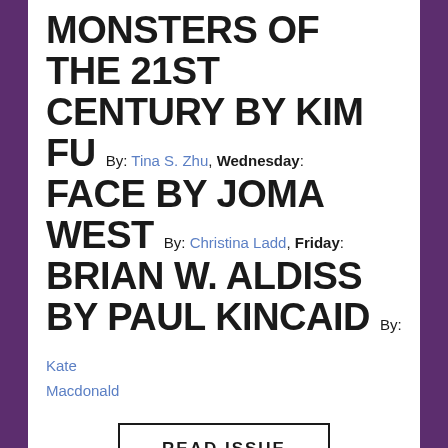MONSTERS OF THE 21ST CENTURY BY KIM FU By: Tina S. Zhu, Wednesday: FACE BY JOMA WEST By: Christina Ladd, Friday: BRIAN W. ALDISS BY PAUL KINCAID By: Kate Macdonald
READ ISSUE